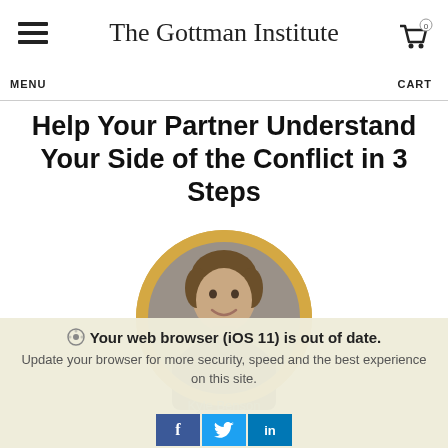The Gottman Institute
Help Your Partner Understand Your Side of the Conflict in 3 Steps
[Figure (photo): Circular headshot photo of Kyle Benson with a gold/yellow circular border, man with brown hair wearing a dark blue shirt, smiling, neutral grey background]
Kyle Benson
Your web browser (iOS 11) is out of date. Update your browser for more security, speed and the best experience on this site.